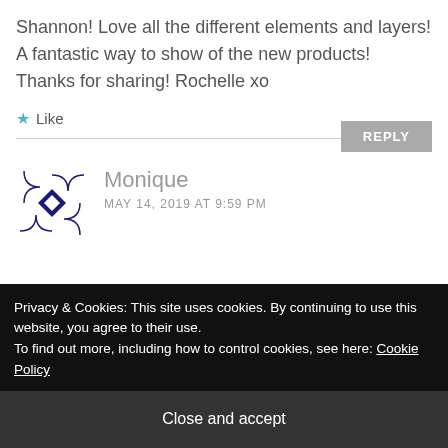Shannon! Love all the different elements and layers! A fantastic way to show of the new products! Thanks for sharing! Rochelle xo
★ Like
REPLY
[Figure (logo): Monique avatar with blue geometric pattern logo]
Monique
MAY 14, 2019 AT 9:59 PM
Privacy & Cookies: This site uses cookies. By continuing to use this website, you agree to their use.
To find out more, including how to control cookies, see here: Cookie Policy
Close and accept